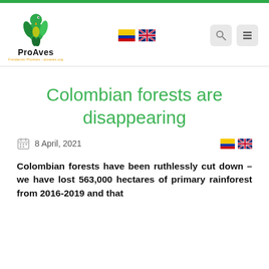[Figure (logo): ProAves logo with green parrot illustration and text 'ProAves' below]
Colombian forests are disappearing
8 April, 2021
Colombian forests have been ruthlessly cut down – we have lost 563,000 hectares of primary rainforest from 2016-2019 and that